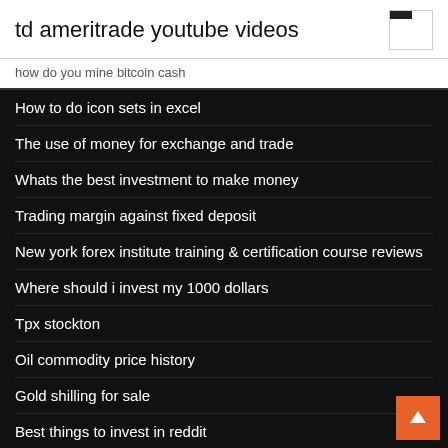td ameritrade youtube videos
how do you mine bitcoin cash
How to do icon sets in excel
The use of money for exchange and trade
Whats the best investment to make money
Trading margin against fixed deposit
New york forex institute training & certification course reviews
Where should i invest my 1000 dollars
Tpx stockton
Oil commodity price history
Gold shilling for sale
Best things to invest in reddit